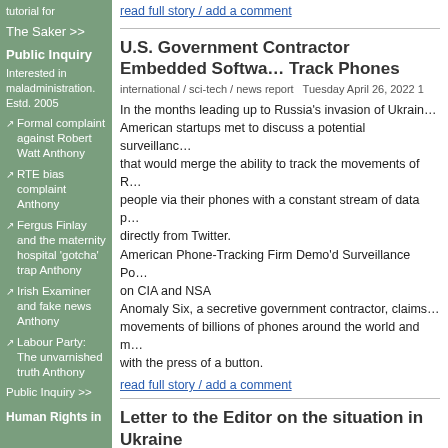tutorial for
The Saker >>
Public Inquiry
Interested in maladministration. Estd. 2005
Formal complaint against Robert Watt Anthony
RTE bias complaint Anthony
Fergus Finlay and the maternity hospital 'gotcha' trap Anthony
Irish Examiner and fake news Anthony
Labour Party: The unvarnished truth Anthony
Public Inquiry >>
Human Rights in
read full story / add a comment
U.S. Government Contractor Embedded Software to Track Phones
international / sci-tech / news report  Tuesday April 26, 2022 1
In the months leading up to Russia's invasion of Ukrain... American startups met to discuss a potential surveillance... that would merge the ability to track the movements of... people via their phones with a constant stream of data p... directly from Twitter.
American Phone-Tracking Firm Demo'd Surveillance P... on CIA and NSA
Anomaly Six, a secretive government contractor, claims... movements of billions of phones around the world and r... with the press of a button.
read full story / add a comment
Letter to the Editor on the situation in Ukraine
national / anti-war / imperialism / opinion/analysis  Sunday Ap... by JK
Dear Editor,
Change we would all agree is essential if the world is n... endure further destruction and devastation and even a t...